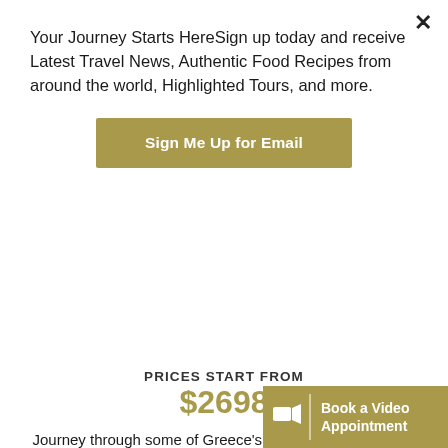Your Journey Starts HereSign up today and receive Latest Travel News, Authentic Food Recipes from around the world, Highlighted Tours, and more.
Sign Me Up for Email
[Figure (photo): Strip image showing travelers and ancient ruins/sandy archaeological site]
Greece’s Cultural Tour
Quality: 6 days
PRICES START FROM $2698
Journey through some of Greece's most famous historical archeological sites, cities and streets through Athens, Delphi, Co... Nafplion...
Book a Video Appointment